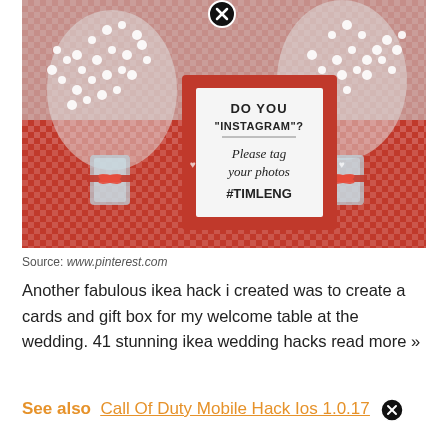[Figure (photo): Wedding table decorated with baby's breath flowers in glass jars tied with red ribbon, red gingham tablecloth, and a framed Instagram sign in a red frame reading 'Do you Instagram? Please tag your photos #TIMLENG'. A close button (X in circle) overlays the top center of the image.]
Source: www.pinterest.com
Another fabulous ikea hack i created was to create a cards and gift box for my welcome table at the wedding. 41 stunning ikea wedding hacks read more »
See also  Call Of Duty Mobile Hack Ios 1.0.17